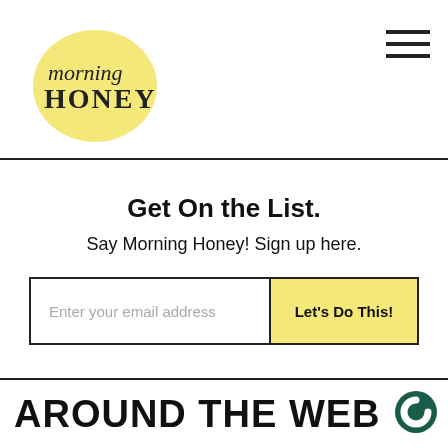[Figure (logo): Morning Honey logo — circular yellow/cream shape with 'morning' in italic script and 'HONEY' in bold serif text]
[Figure (other): Hamburger menu icon — three horizontal black lines stacked vertically]
Get On the List.
Say Morning Honey! Sign up here.
Enter your email address
Let's Do This!
AROUND THE WEB